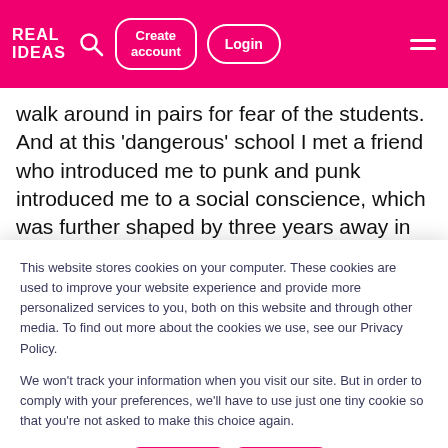Real Ideas — Create account | Login
walk around in pairs for fear of the students. And at this 'dangerous' school I met a friend who introduced me to punk and punk introduced me to a social conscience, which was further shaped by three years away in Manchester as the first in
This website stores cookies on your computer. These cookies are used to improve your website experience and provide more personalized services to you, both on this website and through other media. To find out more about the cookies we use, see our Privacy Policy.

We won't track your information when you visit our site. But in order to comply with your preferences, we'll have to use just one tiny cookie so that you're not asked to make this choice again.
Cookie Settings | Accept | Decline